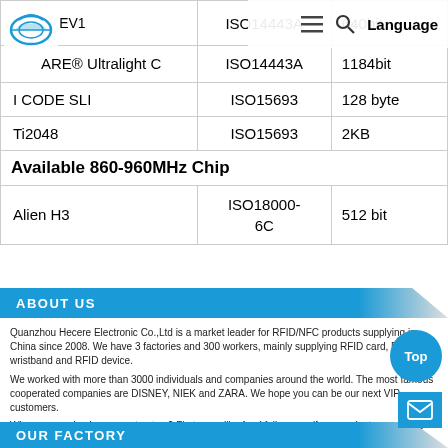| Chip | Standard | Memory |
| --- | --- | --- |
| EV1 (partial) | ISO14443A | 640bit |
| MIFARE® Ultralight C | ISO14443A | 1184bit |
| I CODE SLI | ISO15693 | 128 byte |
| Ti2048 | ISO15693 | 2KB |
| Available 860-960MHz Chip |  |  |
| Alien H3 | ISO18000-6C | 512 bit |
ABOUT US
Quanzhou Hecere Electronic Co.,Ltd is a market leader for RFID/NFC products supplying in China since 2008. We have 3 factories and 300 workers, mainly supplying RFID card, RFID wristband and RFID device.
We worked with more than 3000 individuals and companies around the world. The most famous cooperated companies are DISNEY, NIEK and ZARA. We hope you can be our next VIP customers.
Why so many businessmen trust us? First, we will refund full money if our products are not as described. Second, we will not delay the deliver time. But if it happens, we will give compensation. Third, we can quickly response for you at any time.
We trust with us your money in safe your business in safe.
OUR FACTORY